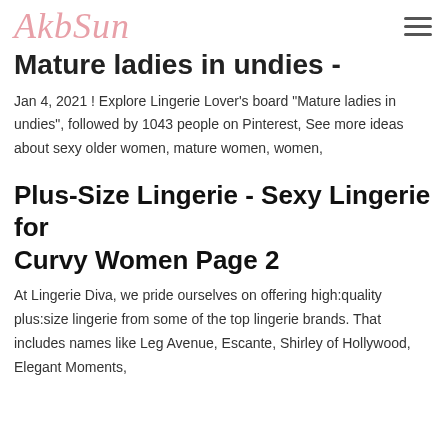AkbSun
Mature ladies in undies -
Jan 4, 2021 ! Explore Lingerie Lover's board "Mature ladies in undies", followed by 1043 people on Pinterest, See more ideas about sexy older women, mature women, women,
Plus-Size Lingerie - Sexy Lingerie for Curvy Women Page 2
At Lingerie Diva, we pride ourselves on offering high:quality plus:size lingerie from some of the top lingerie brands. That includes names like Leg Avenue, Escante, Shirley of Hollywood, Elegant Moments,